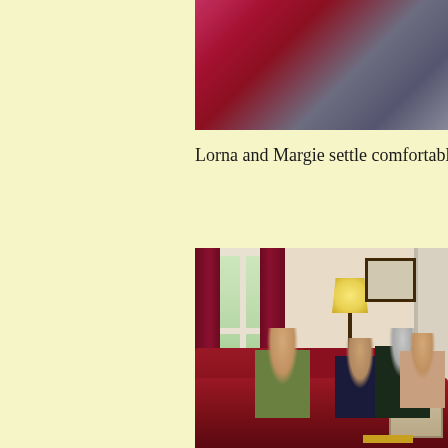[Figure (photo): Close-up of red/crimson and grey fabric or clothing, cropped at top of page]
Lorna and Margie settle comfortably into t
[Figure (photo): Group of people seated on red sofas in a comfortable living room with wallpapered walls, red curtains, a floor lamp, and a large window with garden view outside]